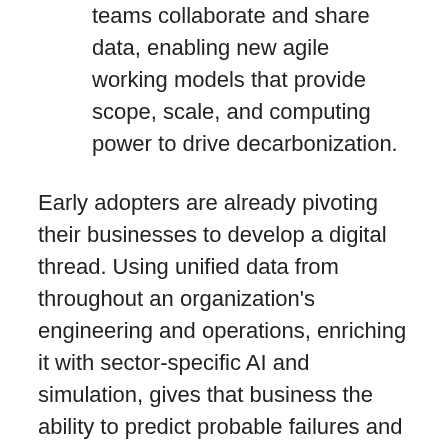teams collaborate and share data, enabling new agile working models that provide scope, scale, and computing power to drive decarbonization.
Early adopters are already pivoting their businesses to develop a digital thread. Using unified data from throughout an organization's engineering and operations, enriching it with sector-specific AI and simulation, gives that business the ability to predict probable failures and suggest a set of actions to mitigate losses, problems, or underperformance. From a sustainability perspective, this digital thread can help to eliminate fugitive emissions, decarbonize supply chains, and vastly reduce the carbon generated as a result of operations—all